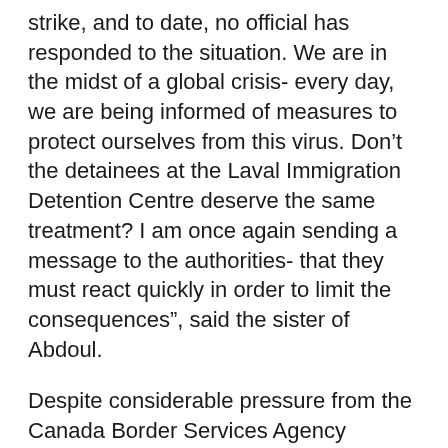strike, and to date, no official has responded to the situation. We are in the midst of a global crisis- every day, we are being informed of measures to protect ourselves from this virus. Don't the detainees at the Laval Immigration Detention Centre deserve the same treatment? I am once again sending a message to the authorities- that they must react quickly in order to limit the consequences”, said the sister of Abdoul.
Despite considerable pressure from the Canada Border Services Agency (CBSA), detainees have been refusing all meals since Wednesday. Confined in close quarters and exposed to the coming and going of guards, food and maintenance personnel, social distancing measures are impossible to observe and the risk of COVID-19 transmission is real.
“It’s impossible to enact public health measures necessary to prevent the explosive spread of COVID-